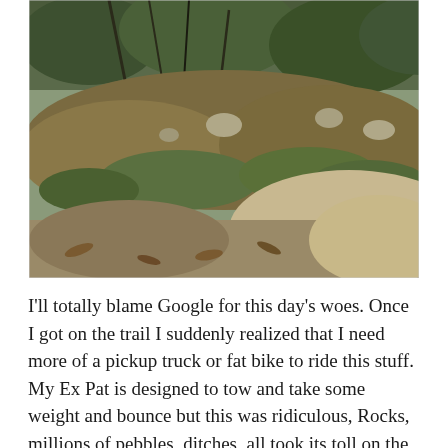[Figure (photo): Outdoor trail photo showing a dirt path with rocks, dry leaves, green grass patches, and shrubs/trees in the background under overcast sky.]
I'll totally blame Google for this day's woes. Once I got on the trail I suddenly realized that I need more of a pickup truck or fat bike to ride this stuff. My Ex Pat is designed to tow and take some weight and bounce but this was ridiculous, Rocks, millions of pebbles, ditches, all took its toll on the bike until I broke a bolt